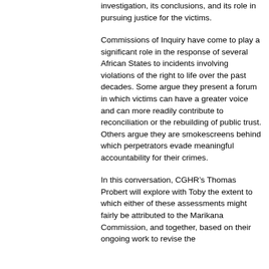investigation, its conclusions, and its role in pursuing justice for the victims.
Commissions of Inquiry have come to play a significant role in the response of several African States to incidents involving violations of the right to life over the past decades. Some argue they present a forum in which victims can have a greater voice and can more readily contribute to reconciliation or the rebuilding of public trust. Others argue they are smokescreens behind which perpetrators evade meaningful accountability for their crimes.
In this conversation, CGHR’s Thomas Probert will explore with Toby the extent to which either of these assessments might fairly be attributed to the Marikana Commission, and together, based on their ongoing work to revise the